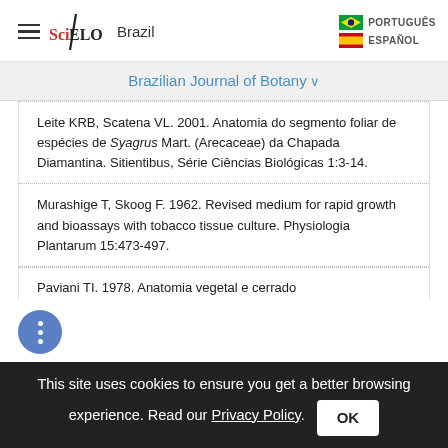SciELO Brazil | PORTUGUÊS | ESPAÑOL
Brazilian Journal of Botany
Leite KRB, Scatena VL. 2001. Anatomia do segmento foliar de espécies de Syagrus Mart. (Arecaceae) da Chapada Diamantina. Sitientibus, Série Ciências Biológicas 1:3-14.
Murashige T, Skoog F. 1962. Revised medium for rapid growth and bioassays with tobacco tissue culture. Physiologia Plantarum 15:473-497.
Paviani TI. 1978. Anatomia vegetal e cerrado
This site uses cookies to ensure you get a better browsing experience. Read our Privacy Policy.